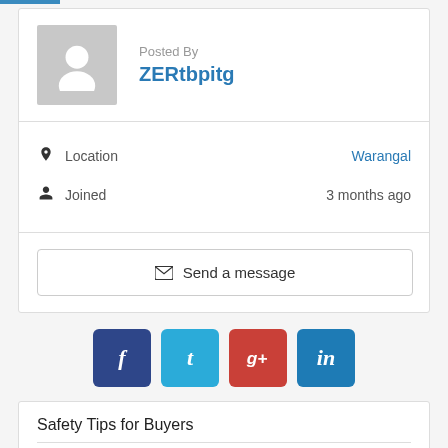Posted By
ZERtbpitg
Location   Warangal
Joined   3 months ago
✉ Send a message
[Figure (other): Social share buttons: Facebook (f), Twitter (t), Google+ (g+), LinkedIn (in)]
Safety Tips for Buyers